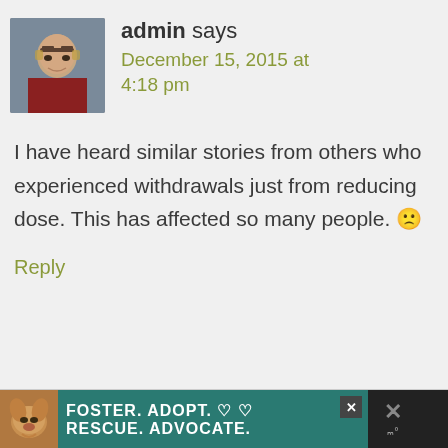[Figure (photo): Avatar photo of admin user — a woman with glasses wearing a red top, photographed outdoors.]
admin says
December 15, 2015 at 4:18 pm
I have heard similar stories from others who experienced withdrawals just from reducing dose. This has affected so many people. 🙁
Reply
[Figure (photo): Advertisement banner: teal background with a dog photo on the left and white bold text reading 'FOSTER. ADOPT. ♡ ♡ RESCUE. ADVOCATE.' with a close button on the right.]